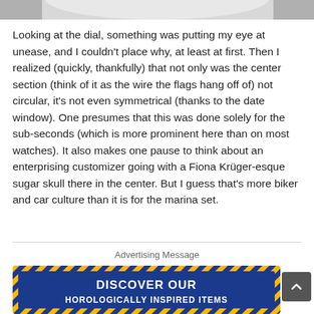[Figure (photo): Partial view of a watch dial, cropped at the top of the page]
Looking at the dial, something was putting my eye at unease, and I couldn't place why, at least at first. Then I realized (quickly, thankfully) that not only was the center section (think of it as the wire the flags hang off of) not circular, it's not even symmetrical (thanks to the date window). One presumes that this was done solely for the sub-seconds (which is more prominent here than on most watches). It also makes one pause to think about an enterprising customizer going with a Fiona Krüger-esque sugar skull there in the center. But I guess that's more biker and car culture than it is for the marina set.
Advertising Message
[Figure (other): Advertisement banner with yellow and blue design reading DISCOVER OUR HOROLOGICALLY INSPIRED ITEMS]